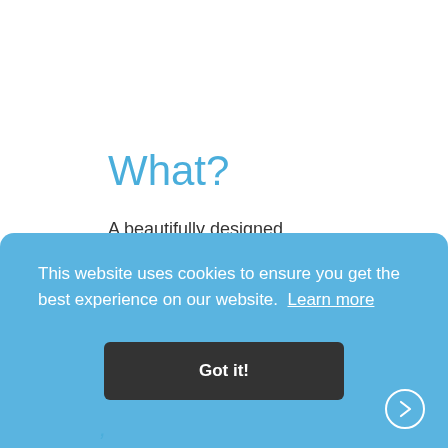What?
A beautifully designed water dispenser
This website uses cookies to ensure you get the best experience on our website. Learn more
Got it!